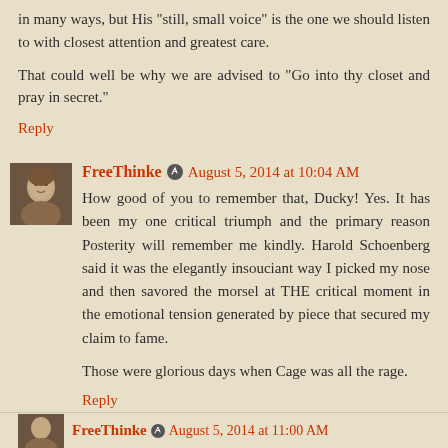in many ways, but His "still, small voice" is the one we should listen to with closest attention and greatest care.
That could well be why we are advised to "Go into thy closet and pray in secret."
Reply
FreeThinke  August 5, 2014 at 10:04 AM
How good of you to remember that, Ducky! Yes. It has been my one critical triumph and the primary reason Posterity will remember me kindly. Harold Schoenberg said it was the elegantly insouciant way I picked my nose and then savored the morsel at THE critical moment in the emotional tension generated by piece that secured my claim to fame.
Those were glorious days when Cage was all the rage.
Reply
FreeThinke  August 5, 2014 at 11:00 AM